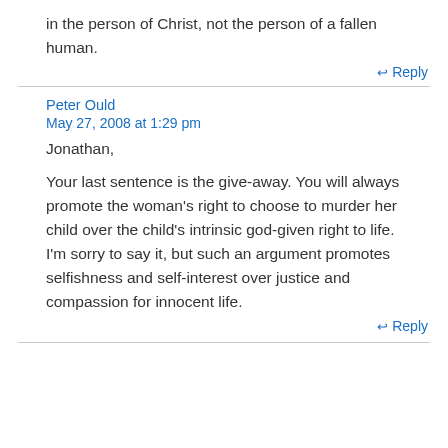in the person of Christ, not the person of a fallen human.
↩ Reply
Peter Ould
May 27, 2008 at 1:29 pm
Jonathan,
Your last sentence is the give-away. You will always promote the woman's right to choose to murder her child over the child's intrinsic god-given right to life. I'm sorry to say it, but such an argument promotes selfishness and self-interest over justice and compassion for innocent life.
↩ Reply